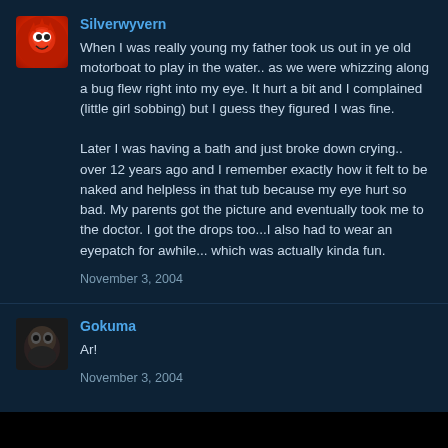Silverwyvern
When I was really young my father took us out in ye old motorboat to play in the water.. as we were whizzing along a bug flew right into my eye. It hurt a bit and I complained (little girl sobbing) but I guess they figured I was fine.

Later I was having a bath and just broke down crying.. over 12 years ago and I remember exactly how it felt to be naked and helpless in that tub because my eye hurt so bad. My parents got the picture and eventually took me to the doctor. I got the drops too...I also had to wear an eyepatch for awhile... which was actually kinda fun.
November 3, 2004
Gokuma
Ar!
November 3, 2004